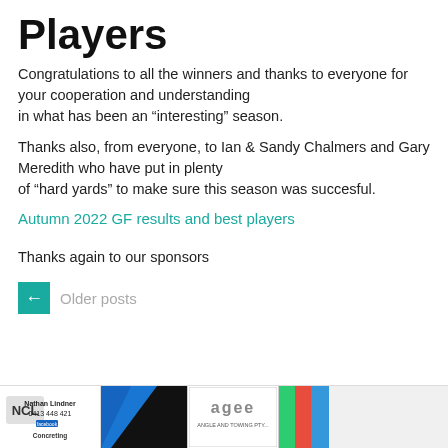Players
Congratulations to all the winners and thanks to everyone for your cooperation and understanding in what has been an “interesting” season.
Thanks also, from everyone, to Ian & Sandy Chalmers and Gary Meredith who have put in plenty of “hard yards” to make sure this season was succesful.
Autumn 2022 GF results and best players
Thanks again to our sponsors
← Older posts
[Figure (other): Footer bar showing sponsor logos: NCL Concreting with Nathan Lindner 0413 448 421, a blue angular shape logo, agee ANGLE AND TOWING PTY, and a partial colorful logo]